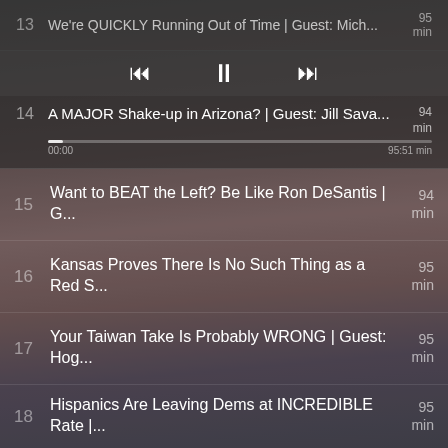[Figure (screenshot): Podcast app playlist screen showing episode list with media player controls. Top partial row shows episode 13 truncated. Controls bar with rewind, pause, fast-forward buttons. Currently playing episode 14: A MAJOR Shake-up in Arizona? | Guest: Jill Sava... with progress bar at 00:00 out of 95:51, 94 min. Episodes 15-20 listed below.]
15   Want to BEAT the Left? Be Like Ron DeSantis | G...   94 min
16   Kansas Proves There Is No Such Thing as a Red S...   95 min
17   Your Taiwan Take Is Probably WRONG | Guest: Hog...   95 min
18   Hispanics Are Leaving Dems at INCREDIBLE Rate |...   95 min
19   America's NEW National Religion | 7/29/22   95 min
20   Dutch Jab Study Is a BOMBSHELL | Guest: Kris K...   95 min